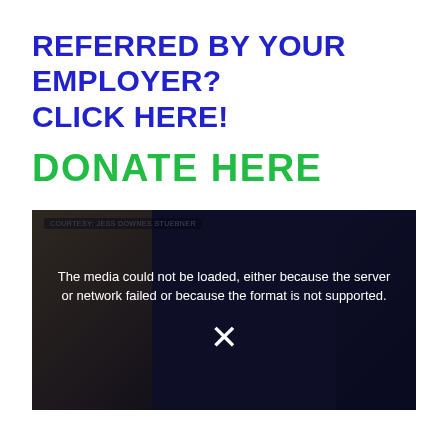REFERRED BY YOUR EMPLOYER? CLICK HERE!
DONATE HERE
[Figure (screenshot): Video player showing error message: 'The media could not be loaded, either because the server or network failed or because the format is not supported.' with an X close button. Label reads 'COURTESY: JESS DOWNES STUEBNER']